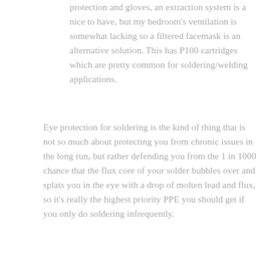protection and gloves, an extraction system is a nice to have, but my bedroom's ventilation is somewhat lacking so a filtered facemask is an alternative solution. This has P100 cartridges which are pretty common for soldering/welding applications.
Eye protection for soldering is the kind of thing that is not so much about protecting you from chronic issues in the long run, but rather defending you from the 1 in 1000 chance that the flux core of your solder bubbles over and splats you in the eye with a drop of molten lead and flux, so it's really the highest priority PPE you should get if you only do soldering infrequently.